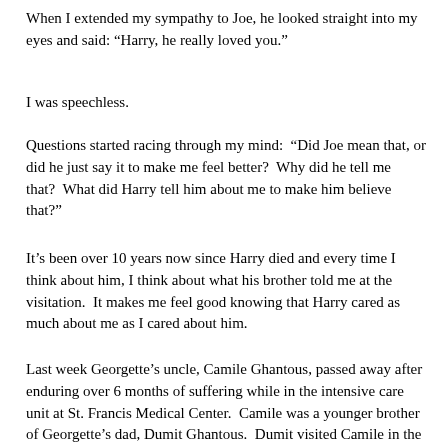When I extended my sympathy to Joe, he looked straight into my eyes and said: “Harry, he really loved you.”
I was speechless.
Questions started racing through my mind:  “Did Joe mean that, or did he just say it to make me feel better?  Why did he tell me that?  What did Harry tell him about me to make him believe that?”
It’s been over 10 years now since Harry died and every time I think about him, I think about what his brother told me at the visitation.  It makes me feel good knowing that Harry cared as much about me as I cared about him.
Last week Georgette’s uncle, Camile Ghantous, passed away after enduring over 6 months of suffering while in the intensive care unit at St. Francis Medical Center.  Camile was a younger brother of Georgette’s dad, Dumit Ghantous.  Dumit visited Camile in the hospital every day for over 6 months.  So did Camile’s son, Leo.  Most days, Camile wasn’t able to speak to his brother or his son, but he knew they were there with him.  At times, Dumit would hold Camile’s hand and say, “Camile if you hear me,